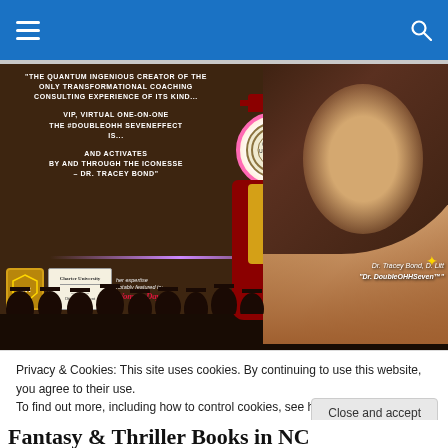Navigation header with hamburger menu and search icon
[Figure (photo): Promotional image for Dr. Tracey Bond D. Litt, 'Dr. DoubleOHHSeven™'. Left side shows text on dark brown background about 'The Quantum Ingenious Creator of the Only Transformational Coaching Consulting Experience of Its Kind... VIP, Virtual One-on-One The #DoubleOHHSevenEffect is... And Activates by and through the Iconesse – Dr. Tracey Bond'. Bottom left shows a logo badge, a Charter University certificate, and a Woman's Day magazine feature. Center shows a stylized figure in red graduation regalia holding a diploma. Right side shows a portrait photo of Dr. Tracey Bond, a woman with long brunette hair and professional makeup. Bottom text reads 'Dr. Tracey Bond, D. Litt "Dr. DoubleOHHSeven™"'.]
Privacy & Cookies: This site uses cookies. By continuing to use this website, you agree to their use.
To find out more, including how to control cookies, see here: Cookie Policy
Fantasy & Thriller Books in NC